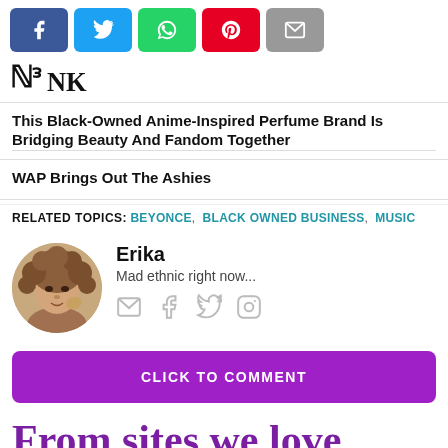[Figure (other): Social share buttons row: Facebook (blue), Twitter (light blue), WhatsApp (green), Pinterest (red), Email (grey)]
[Figure (logo): Partial website logo in bold serif font]
This Black-Owned Anime-Inspired Perfume Brand Is Bridging Beauty And Fandom Together
WAP Brings Out The Ashies
RELATED TOPICS: BEYONCE, BLACK OWNED BUSINESS, MUSIC
[Figure (photo): Circular author avatar photo of a woman with curly hair]
Erika
Mad ethnic right now...
[Figure (other): Author social icons: email, facebook, twitter, instagram]
CLICK TO COMMENT
From sites we love